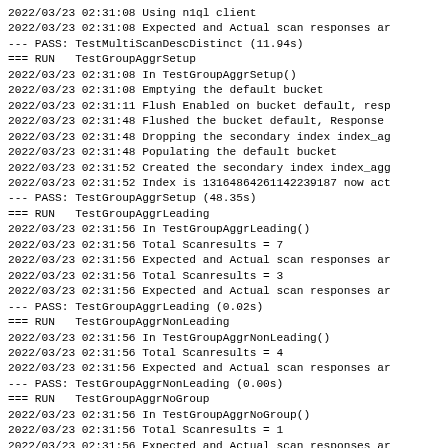2022/03/23 02:31:08 Using n1ql client
2022/03/23 02:31:08 Expected and Actual scan responses ar
--- PASS: TestMultiScanDescDistinct (11.94s)
=== RUN   TestGroupAggrSetup
2022/03/23 02:31:08 In TestGroupAggrSetup()
2022/03/23 02:31:08 Emptying the default bucket
2022/03/23 02:31:11 Flush Enabled on bucket default, resp
2022/03/23 02:31:48 Flushed the bucket default, Response
2022/03/23 02:31:48 Dropping the secondary index index_ag
2022/03/23 02:31:48 Populating the default bucket
2022/03/23 02:31:52 Created the secondary index index_agg
2022/03/23 02:31:52 Index is 13164864261142239187 now act
--- PASS: TestGroupAggrSetup (48.35s)
=== RUN   TestGroupAggrLeading
2022/03/23 02:31:56 In TestGroupAggrLeading()
2022/03/23 02:31:56 Total Scanresults = 7
2022/03/23 02:31:56 Expected and Actual scan responses ar
2022/03/23 02:31:56 Total Scanresults = 3
2022/03/23 02:31:56 Expected and Actual scan responses ar
--- PASS: TestGroupAggrLeading (0.02s)
=== RUN   TestGroupAggrNonLeading
2022/03/23 02:31:56 In TestGroupAggrNonLeading()
2022/03/23 02:31:56 Total Scanresults = 4
2022/03/23 02:31:56 Expected and Actual scan responses ar
--- PASS: TestGroupAggrNonLeading (0.00s)
=== RUN   TestGroupAggrNoGroup
2022/03/23 02:31:56 In TestGroupAggrNoGroup()
2022/03/23 02:31:56 Total Scanresults = 1
2022/03/23 02:31:56 Expected and Actual scan responses ar
--- PASS: TestGroupAggrNoGroup (0.00s)